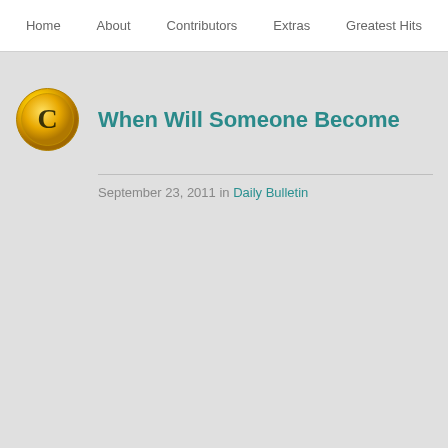Home | About | Contributors | Extras | Greatest Hits
When Will Someone Become
September 23, 2011 in Daily Bulletin